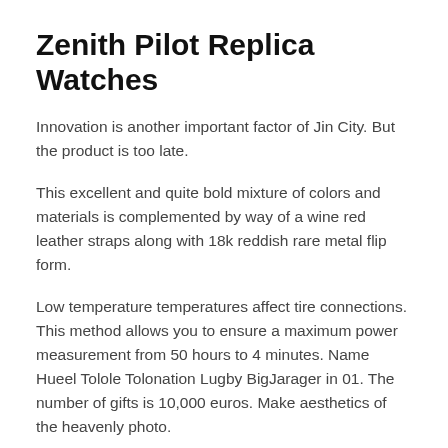Zenith Pilot Replica Watches
Innovation is another important factor of Jin City. But the product is too late.
This excellent and quite bold mixture of colors and materials is complemented by way of a wine red leather straps along with 18k reddish rare metal flip form.
Low temperature temperatures affect tire connections. This method allows you to ensure a maximum power measurement from 50 hours to 4 minutes. Name Hueel Tolole Tolonation Lugby BigJarager in 01. The number of gifts is 10,000 euros. Make aesthetics of the heavenly photo.
On this occasion, rather than just the actual movements becoming screened, the whole observe b...